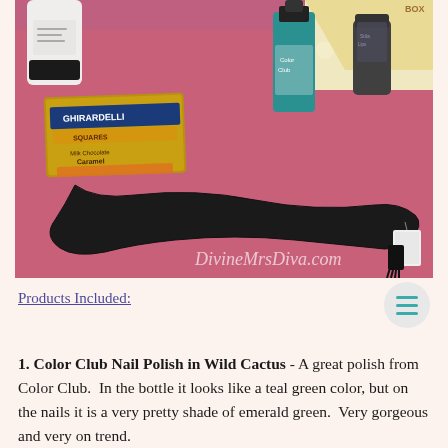[Figure (photo): A photo of beauty/lifestyle subscription box products laid out on pink tissue paper: a white tube, a Ghirardelli chocolate square, a teal nail polish bottle (Color Club), a small dark tube, and a black ribbon/headband with a tag. Watermark reads DivineMrsDiva.com.]
Products Included:
1. Color Club Nail Polish in Wild Cactus - A great polish from Color Club.  In the bottle it looks like a teal green color, but on the nails it is a very pretty shade of emerald green.  Very gorgeous and very on trend.